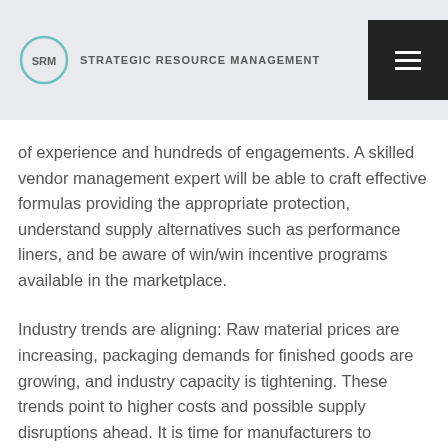[Figure (logo): SRM Strategic Resource Management logo with circular icon and text]
of experience and hundreds of engagements. A skilled vendor management expert will be able to craft effective formulas providing the appropriate protection, understand supply alternatives such as performance liners, and be aware of win/win incentive programs available in the marketplace.
Industry trends are aligning: Raw material prices are increasing, packaging demands for finished goods are growing, and industry capacity is tightening. These trends point to higher costs and possible supply disruptions ahead. It is time for manufacturers to